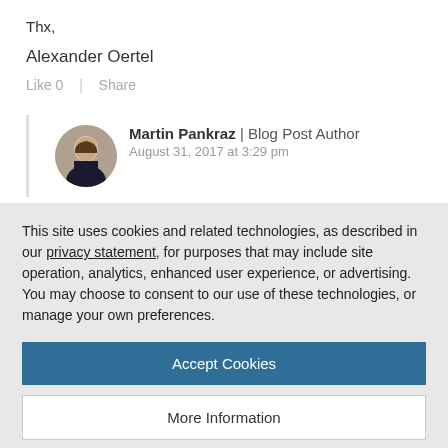Thx,
Alexander Oertel
Like 0  |  Share
Martin Pankraz | Blog Post Author
August 31, 2017 at 3:29 pm
This site uses cookies and related technologies, as described in our privacy statement, for purposes that may include site operation, analytics, enhanced user experience, or advertising. You may choose to consent to our use of these technologies, or manage your own preferences.
Accept Cookies
More Information
Privacy Policy | Powered by: TrustArc